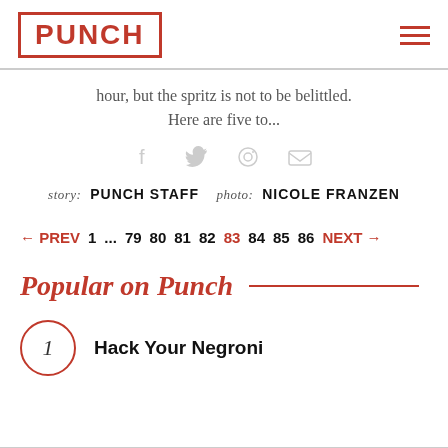PUNCH
hour, but the spritz is not to be belittled. Here are five to...
story: PUNCH STAFF   photo: NICOLE FRANZEN
← PREV  1 ... 79  80  81  82  83  84  85  86  NEXT →
Popular on Punch
1  Hack Your Negroni